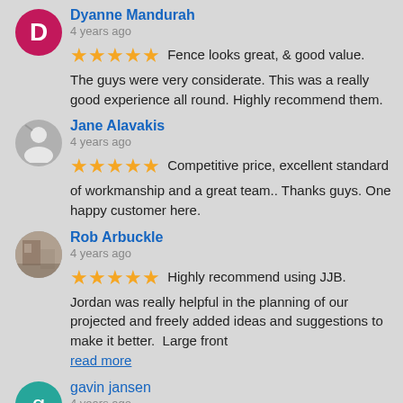Dyanne Mandurah — 4 years ago — ★★★★★ Fence looks great, & good value. The guys were very considerate. This was a really good experience all round. Highly recommend them.
Jane Alavakis — 4 years ago — ★★★★★ Competitive price, excellent standard of workmanship and a great team.. Thanks guys. One happy customer here.
Rob Arbuckle — 4 years ago — ★★★★★ Highly recommend using JJB. Jordan was really helpful in the planning of our projected and freely added ideas and suggestions to make it better. Large front read more
gavin jansen — 4 years ago — ★★★★★ Very Polite and professional and the work was carried out to a very high standard and on time even in